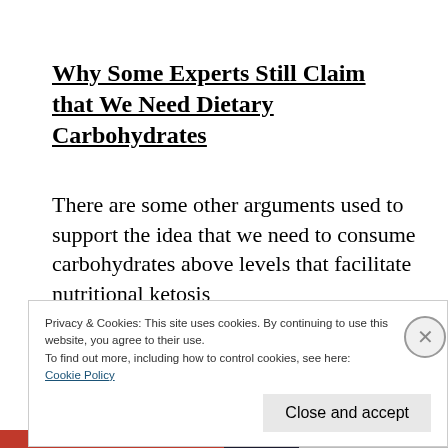Why Some Experts Still Claim that We Need Dietary Carbohydrates
There are some other arguments used to support the idea that we need to consume carbohydrates above levels that facilitate nutritional ketosis
Privacy & Cookies: This site uses cookies. By continuing to use this website, you agree to their use.
To find out more, including how to control cookies, see here:
Cookie Policy
Close and accept